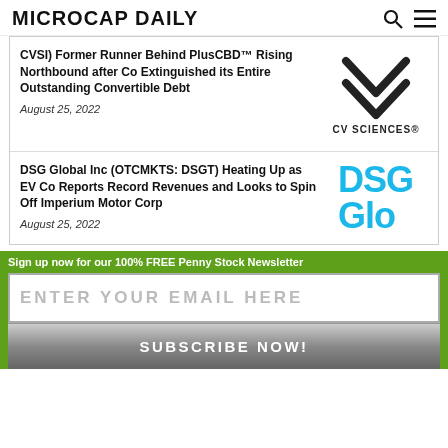MICROCAP DAILY
CVSI) Former Runner Behind PlusCBD™ Rising Northbound after Co Extinguished its Entire Outstanding Convertible Debt
August 25, 2022
[Figure (logo): CV Sciences logo with double chevron down arrows and text CV SCIENCES]
DSG Global Inc (OTCMKTS: DSGT) Heating Up as EV Co Reports Record Revenues and Looks to Spin Off Imperium Motor Corp
August 25, 2022
[Figure (logo): DSG Global logo in blue text showing DSG Glo]
Sign up now for our 100% FREE Penny Stock Newsletter
ENTER YOUR EMAIL HERE
SUBSCRIBE NOW!